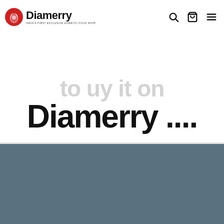Diamerry — India's First Exclusive Diabetic Food Shop
to uy it on Diamerry ....